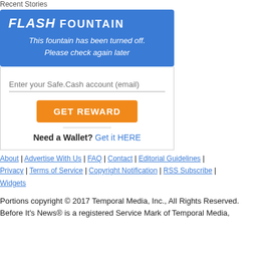Recent Stories
[Figure (infographic): Flash Fountain widget with blue background showing FLASH FOUNTAIN title and message 'This fountain has been turned off. Please check again later', with email input field, GET REWARD button, and Need a Wallet? Get it HERE link]
About | Advertise With Us | FAQ | Contact | Editorial Guidelines | Privacy | Terms of Service | Copyright Notification | RSS Subscribe | Widgets
Portions copyright © 2017 Temporal Media, Inc., All Rights Reserved.
Before It's News® is a registered Service Mark of Temporal Media,